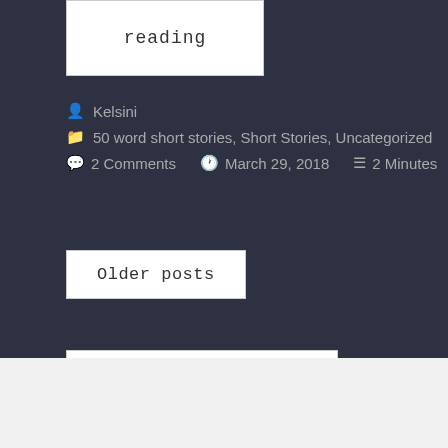reading
Kelsini
50 word short stories, Short Stories, Uncategorized
2 Comments   March 29, 2018   2 Minutes
Older posts
Search …
Advertisements
[Figure (screenshot): WordPress.com advertisement banner: Simplified pricing for everything you need.]